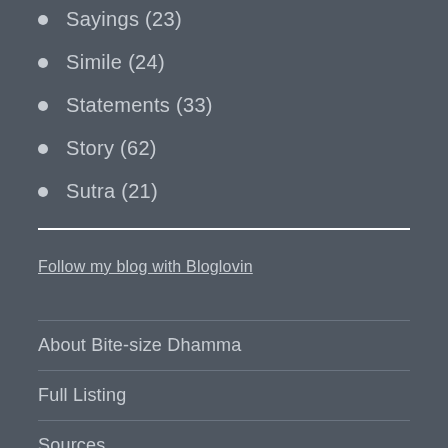Sayings (23)
Simile (24)
Statements (33)
Story (62)
Sutra (21)
Follow my blog with Bloglovin
About Bite-size Dhamma
Full Listing
Sources